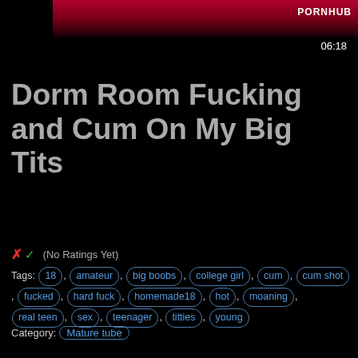[Figure (photo): Video thumbnail showing partial image with PORNHUB logo watermark and 06:18 duration]
Dorm Room Fucking and Cum On My Big Tits
✗✓ (No Ratings Yet)
Tags: 18, amateur, big boobs, college girl, cum, cum shot, fucked, hard fuck, homemade18, hot, moaning, real teen, sex, teenager, titties, young
Category: Mature tube
Published on November 20, 2019 3:35 am by Mature tube
Leave a Reply
Your email address will not be published. Required fields